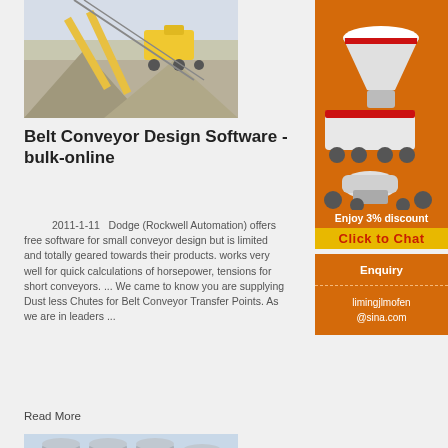[Figure (photo): Aerial view of industrial crushing/conveyor plant with machinery, gravel piles, and conveyor belts.]
Belt Conveyor Design Software - bulk-online
2011-1-11   Dodge (Rockwell Automation) offers free software for small conveyor design but is limited and totally geared towards their products. works very well for quick calculations of horsepower, tensions for short conveyors. ... We came to know you are supplying Dust less Chutes for Belt Conveyor Transfer Points. As we are in leaders ...
Read More
[Figure (photo): Industrial grain/cement silos with corrugated metal tanks and loading equipment in front of a building.]
[Figure (photo): Advertisement showing mining/crushing machinery equipment on orange background with discount offer and chat button.]